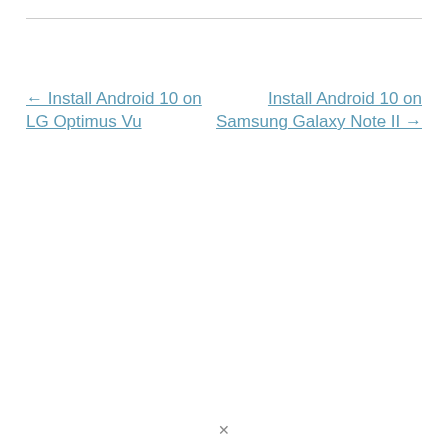← Install Android 10 on LG Optimus Vu
Install Android 10 on Samsung Galaxy Note II →